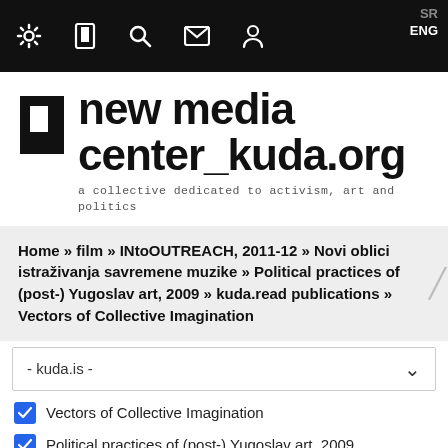[Figure (screenshot): Website navigation bar with icons for settings, tablet, search, mail, user, and language switcher showing SR and ENG]
new media center_kuda.org
a collective dedicated to activism, art and politics
Home » film » INtoOUTREACH, 2011-12 » Novi oblici istraživanja savremene muzike » Political practices of (post-) Yugoslav art, 2009 » kuda.read publications » Vectors of Collective Imagination
- kuda.is -
Vectors of Collective Imagination
Political practices of (post-) Yugoslav art, 2009